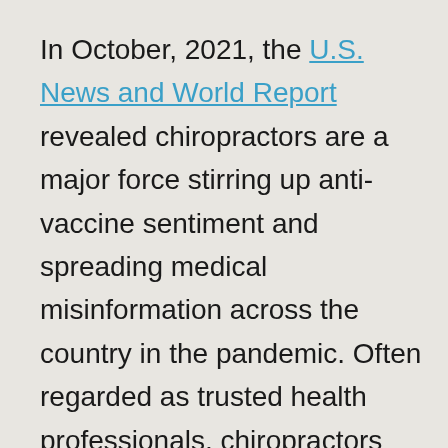In October, 2021, the U.S. News and World Report revealed chiropractors are a major force stirring up anti-vaccine sentiment and spreading medical misinformation across the country in the pandemic. Often regarded as trusted health professionals, chiropractors who do this pose a potent threat to the public by hawking supplements as alternatives to vaccines, working to